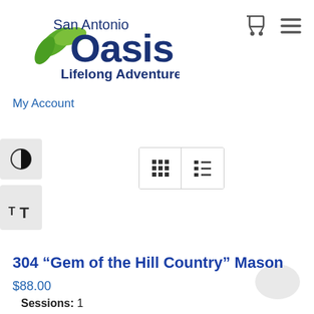[Figure (logo): San Antonio Oasis Lifelong Adventure logo with green leaves and dark blue text]
[Figure (other): Shopping cart icon and hamburger menu icon in top right navigation]
My Account
[Figure (other): Accessibility contrast toggle button (half-circle icon) on left side]
[Figure (other): Accessibility text size toggle button (TT icon) on left side]
[Figure (other): Grid view and list view toggle buttons]
304 “Gem of the Hill Country” Mason
$88.00
Sessions: 1